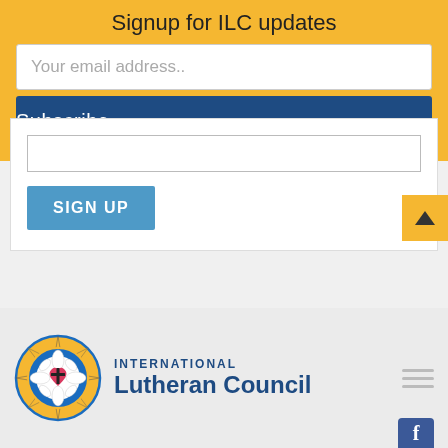Signup for ILC updates
Your email address..
Subscribe
SIGN UP
[Figure (logo): International Lutheran Council logo with compass rose and Luther rose emblem, next to text reading INTERNATIONAL Lutheran Council in dark blue]
INTERNATIONAL Lutheran Council